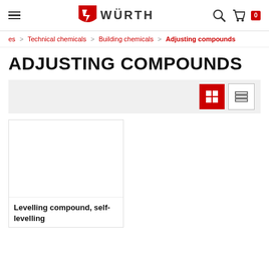Würth — Navigation header with hamburger menu, logo, search, cart (0)
es > Technical chemicals > Building chemicals > Adjusting compounds
ADJUSTING COMPOUNDS
[Figure (screenshot): View toggle bar with grid view (active, red) and list view buttons]
[Figure (screenshot): Product card for 'Levelling compound, self-levelling' with white product image area]
Levelling compound, self-levelling